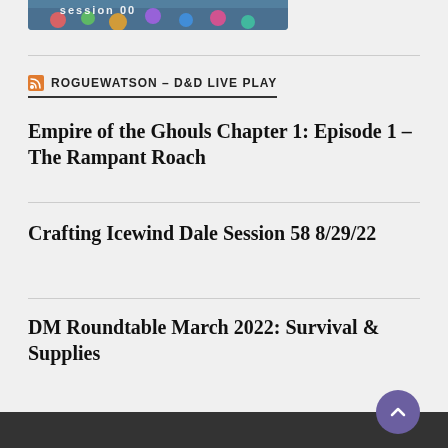[Figure (screenshot): Partial screenshot of a game or show thumbnail with colorful characters, partially visible at top of page]
ROGUEWATSON – D&D LIVE PLAY
Empire of the Ghouls Chapter 1: Episode 1 – The Rampant Roach
Crafting Icewind Dale Session 58 8/29/22
DM Roundtable March 2022: Survival & Supplies